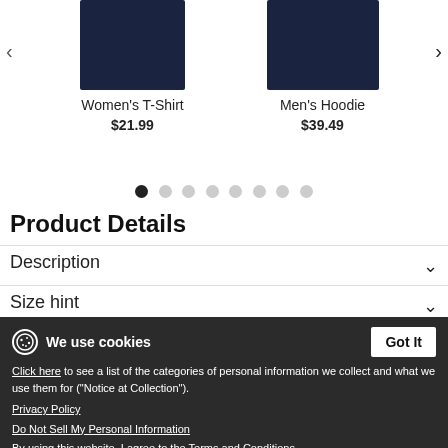[Figure (screenshot): E-commerce product carousel showing Women's T-Shirt at $21.99 and Men's Hoodie at $39.49 with navy blue clothing images, navigation arrows, and pagination dots]
Product Details
Description
Size hint
Product Views
Customer feedback
We use cookies
Click here to see a list of the categories of personal information we collect and what we use them for ("Notice at Collection").
Privacy Policy
Do Not Sell My Personal Information
By using this website, I agree to the Terms and Conditions